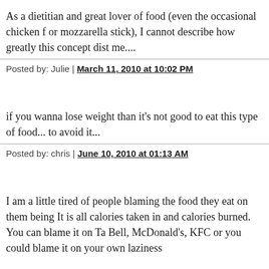As a dietitian and great lover of food (even the occasional chicken f or mozzarella stick), I cannot describe how greatly this concept dist me....
Posted by: Julie | March 11, 2010 at 10:02 PM
if you wanna lose weight than it's not good to eat this type of food... to avoid it...
Posted by: chris | June 10, 2010 at 01:13 AM
I am a little tired of people blaming the food they eat on them being It is all calories taken in and calories burned. You can blame it on Ta Bell, McDonald's, KFC or you could blame it on your own laziness
Fat Sandwich Company is trying to bring a unique food option to a that is all about that. Ian's doesn't catch any flak for putting french f on their pizza, because it is a Madison institution. What about the u how are unique beefs indulged around? That is alt opinion fat